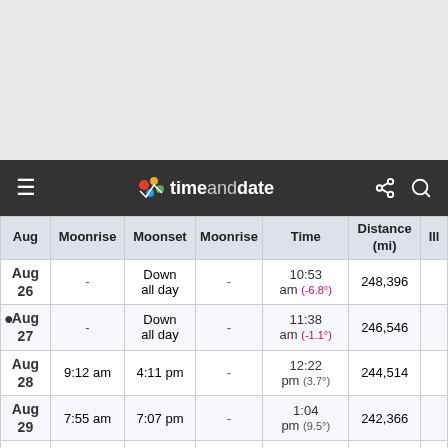timeanddate
| Aug | Moonrise | Moonset | Moonrise | Time | Distance (mi) | Ill |
| --- | --- | --- | --- | --- | --- | --- |
| Aug 26 | - | Down all day | - | 10:53 am (-6.8°) | 248,396 |  |
| Aug 27 | - | Down all day | - | 11:38 am (-1.1°) | 246,546 |  |
| Aug 28 | 9:12 am | 4:11 pm | - | 12:22 pm (3.7°) | 244,514 |  |
| Aug 29 | 7:55 am | 7:07 pm | - | 1:04 pm (9.5°) | 242,366 |  |
| Aug 30 | 6:49 am | 10:04 pm | - | 1:48 pm (15.6°) | 240,146 |  |
| Aug 31 | 5:33 am | - | - | 2:33 pm (21.6°) | 237,879 |  |